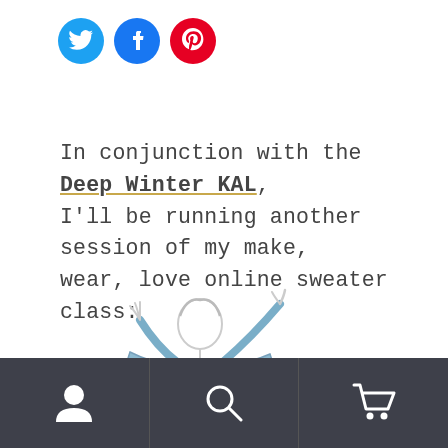[Figure (illustration): Three social media share buttons: Twitter (blue circle with bird icon), Facebook (blue circle with f icon), Pinterest (red circle with P icon)]
In conjunction with the Deep Winter KAL, I'll be running another session of my make, wear, love online sweater class:
[Figure (illustration): Illustrated image of a woman with arms outstretched wearing a blue cardigan, with text 'make, wear, love: the sweater class' in grey beside her]
I so enjoyed the first two sessions, and I'm
User icon | Search icon | Cart icon